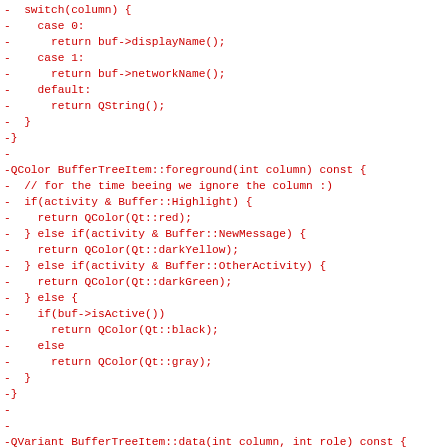Code diff showing removed lines (in red) from a C++ source file including switch statements and QColor/QVariant functions for BufferTreeItem class